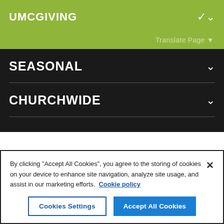UMCGIVING
Translate Page ▼
SEASONAL
CHURCHWIDE
By clicking "Accept All Cookies", you agree to the storing of cookies on your device to enhance site navigation, analyze site usage, and assist in our marketing efforts.  Cookie policy
Cookies Settings
Accept All Cookies